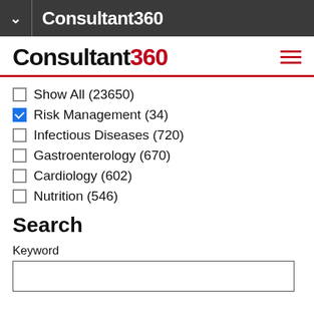Consultant360
[Figure (logo): Consultant360 logo with red '360']
Show All (23650)
Risk Management (34) [checked]
Infectious Diseases (720)
Gastroenterology (670)
Cardiology (602)
Nutrition (546)
Search
Keyword